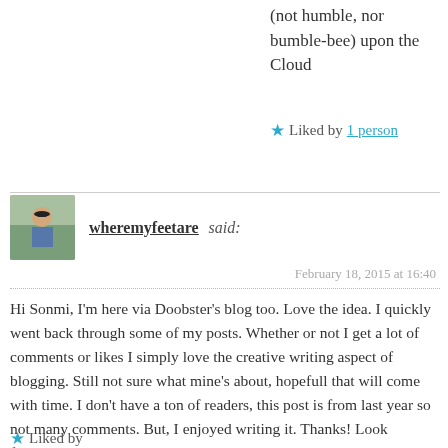(not humble, nor bumble-bee) upon the Cloud
★ Liked by 1 person
wheremyfeetare said:
February 18, 2015 at 16:40
Hi Sonmi, I'm here via Doobster's blog too. Love the idea. I quickly went back through some of my posts. Whether or not I get a lot of comments or likes I simply love the creative writing aspect of blogging. Still not sure what mine's about, hopefull that will come with time. I don't have a ton of readers, this post is from last year so not many comments. But, I enjoyed writing it. Thanks! Look forward to reading your blog. https://wheremyfeetare.wordpress.com/2014/08/26/los amidst-the-geysers/
★ Liked by 1 person